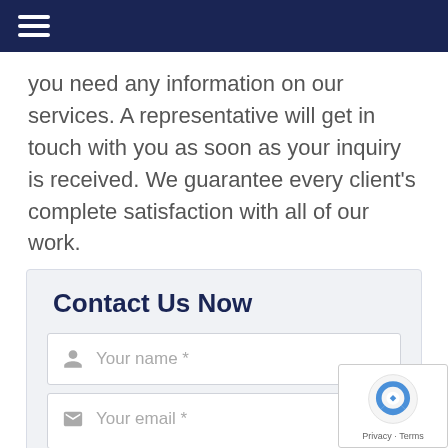Navigation bar with hamburger menu icon
you need any information on our services. A representative will get in touch with you as soon as your inquiry is received. We guarantee every client's complete satisfaction with all of our work.
Contact Us Now
Your name *
Your email *